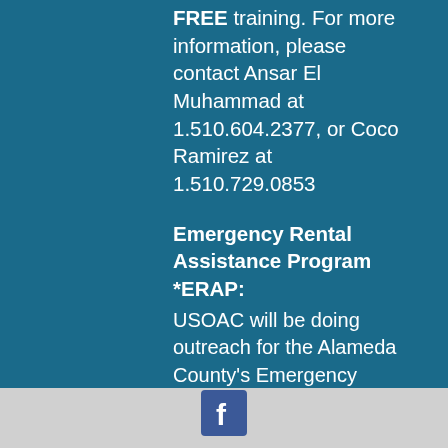FREE training. For more information, please contact Ansar El Muhammad at 1.510.604.2377, or Coco Ramirez at 1.510.729.0853
Emergency Rental Assistance Program *ERAP:
USOAC will be doing outreach for the Alameda County's Emergency Rental Assistance Program. If you need questions answered on how you can receive information and resources please contact Ambassador Tanya Washington at 1.510.729.0852 or email twashing2013@gmail.com.
[Figure (logo): Facebook logo icon, white 'f' on dark blue square background]